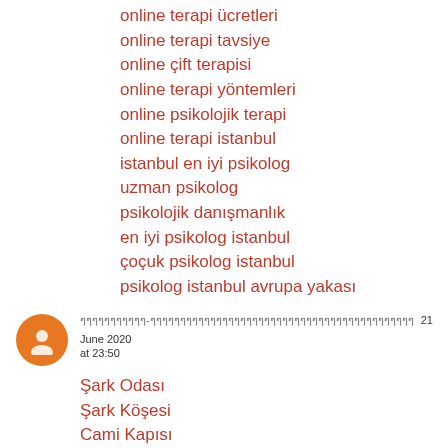online terapi ücretleri
online terapi tavsiye
online çift terapisi
online terapi yöntemleri
online psikolojik terapi
online terapi istanbul
istanbul en iyi psikolog
uzman psikolog
psikolojik danışmanlık
en iyi psikolog istanbul
çoçuk psikolog istanbul
psikolog istanbul avrupa yakası
istanbul anadolu yakası psikolog
psikolog istanbul anadolu yakası
Reply
ๆๆๆๆๆๆๆๆๆๆๆ-ๆๆๆๆๆๆๆๆๆๆๆๆๆๆๆๆๆๆๆๆๆๆๆๆๆๆๆๆๆๆๆๆๆๆๆๆๆๆๆๆๆๆๆๆ 21 June 2020 at 23:50
Şark Odası
Şark Köşesi
Cami Kapısı